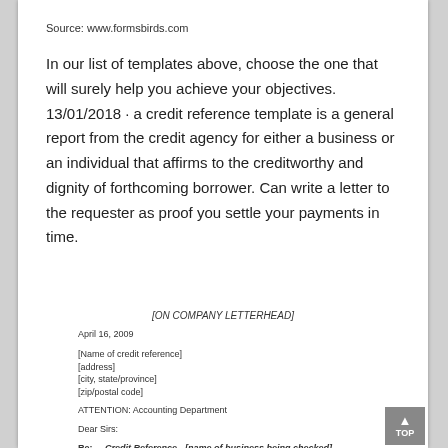Source: www.formsbirds.com
In our list of templates above, choose the one that will surely help you achieve your objectives. 13/01/2018 · a credit reference template is a general report from the credit agency for either a business or an individual that affirms to the creditworthy and dignity of forthcoming borrower. Can write a letter to the requester as proof you settle your payments in time.
[ON COMPANY LETTERHEAD]
April 16, 2009
[Name of credit reference]
[address]
[city, state/province]
[zip/postal code]
ATTENTION: Accounting Department
Dear Sirs:
Re:     Credit Reference - [name of business being checked]
The above noted business has advised that it is a customer of yours, and has asked that you